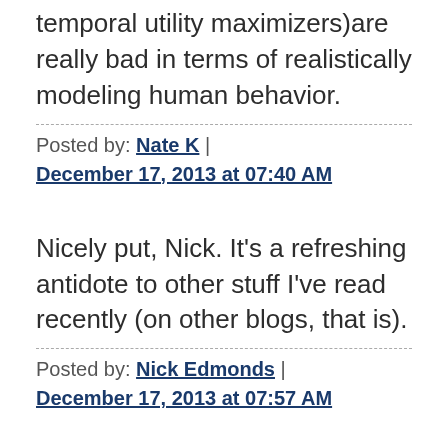temporal utility maximizers)are really bad in terms of realistically modeling human behavior.
Posted by: Nate K | December 17, 2013 at 07:40 AM
Nicely put, Nick. It's a refreshing antidote to other stuff I've read recently (on other blogs, that is).
Posted by: Nick Edmonds | December 17, 2013 at 07:57 AM
Nick, these two reasons are exactly and precisely what I